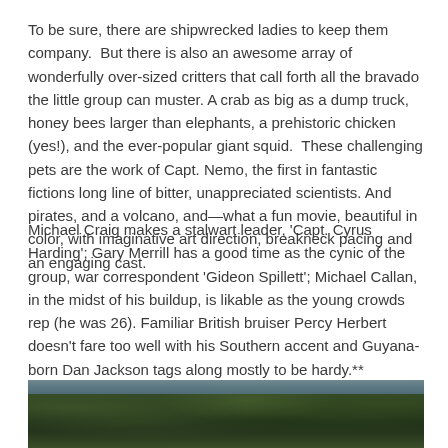To be sure, there are shipwrecked ladies to keep them company.  But there is also an awesome array of wonderfully over-sized critters that call forth all the bravado the little group can muster. A crab as big as a dump truck, honey bees larger than elephants, a prehistoric chicken (yes!), and the ever-popular giant squid.  These challenging pets are the work of Capt. Nemo, the first in fantastic fictions long line of bitter, unappreciated scientists. And pirates, and a volcano, and—what a fun movie, beautiful in color, with imaginative art direction, breakneck pacing and an engaging cast.
Michael Craig makes a stalwart leader, 'Capt. Cyrus Harding'; Gary Merrill has a good time as the cynic of the group, war correspondent 'Gideon Spillett'; Michael Callan, in the midst of his buildup, is likable as the young crowds rep (he was 26). Familiar British bruiser Percy Herbert doesn't fare too well with his Southern accent and Guyana-born Dan Jackson tags along mostly to be hardy.**
[Figure (photo): Photograph of a dark forest or jungle scene with dense green foliage and trees, with a hint of sky visible at the top.]